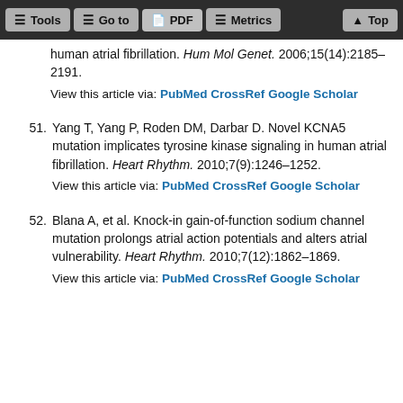Tools | Go to | PDF | Metrics | Top
human atrial fibrillation. Hum Mol Genet. 2006;15(14):2185–2191.
View this article via: PubMed CrossRef Google Scholar
51. Yang T, Yang P, Roden DM, Darbar D. Novel KCNA5 mutation implicates tyrosine kinase signaling in human atrial fibrillation. Heart Rhythm. 2010;7(9):1246–1252.
View this article via: PubMed CrossRef Google Scholar
52. Blana A, et al. Knock-in gain-of-function sodium channel mutation prolongs atrial action potentials and alters atrial vulnerability. Heart Rhythm. 2010;7(12):1862–1869.
View this article via: PubMed CrossRef Google Scholar